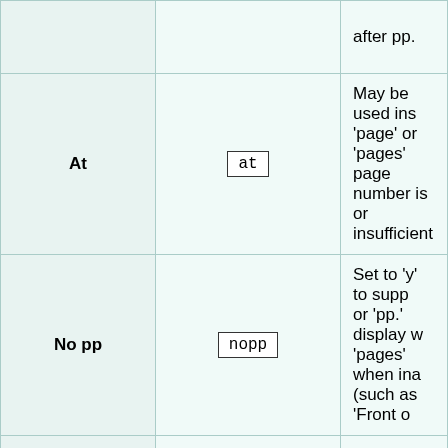| Field name | Template parameter | Description |
| --- | --- | --- |
|  |  | after pp. |
| At | at | May be used ins 'page' or 'pages' page number is or insufficient |
| No pp | nopp | Set to 'y' to supp or 'pp.' display w 'pages' when ina (such as 'Front o |
| arXiv identifier | arxiv | An identifier for electronic prepri scientific papers |
|  |  | Amazon Standa |